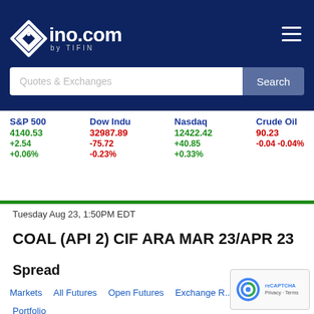[Figure (logo): ino.com by TIFIN logo on dark navy background with hamburger menu icon and search bar]
S&P 500
4140.53
+2.54
+0.06%
Dow Indu
32987.89
-75.72
-0.23%
Nasdaq
12422.42
+40.85
+0.33%
Crude Oil
90.23
-0.04 -0.04%
Tuesday Aug 23, 1:50PM EDT
COAL (API 2) CIF ARA MAR 23/APR 23
Spread
Markets   All Futures   Open Futures   Exchange ...
Portfolio